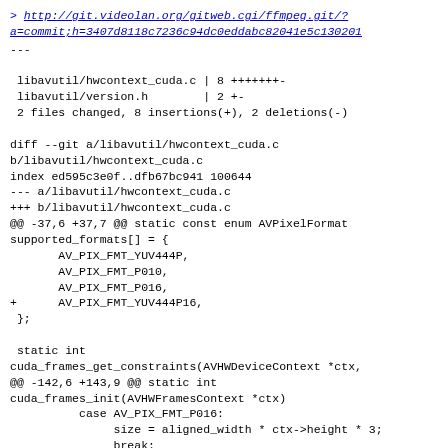> http://git.videolan.org/gitweb.cgi/ffmpeg.git/?a=commit;h=3407d8118c7236c94dc0eddabc82041e5c130201
---

 libavutil/hwcontext_cuda.c | 8 +++++++- 
 libavutil/version.h        | 2 +-
 2 files changed, 8 insertions(+), 2 deletions(-)
diff --git a/libavutil/hwcontext_cuda.c b/libavutil/hwcontext_cuda.c
index ed595c3e0f..dfb67bc941 100644
--- a/libavutil/hwcontext_cuda.c
+++ b/libavutil/hwcontext_cuda.c
@@ -37,6 +37,7 @@ static const enum AVPixelFormat supported_formats[] = {
        AV_PIX_FMT_YUV444P,
        AV_PIX_FMT_P010,
        AV_PIX_FMT_P016,
+       AV_PIX_FMT_YUV444P16,
 };

 static int
cuda_frames_get_constraints(AVHWDeviceContext *ctx,
@@ -142,6 +143,9 @@ static int
cuda_frames_init(AVHWFramesContext *ctx)
           case AV_PIX_FMT_P016:
                size = aligned_width * ctx->height * 3;
                break;
+          case AV_PIX_FMT_YUV444P16:
+               size = aligned_width * ctx->height * 6;